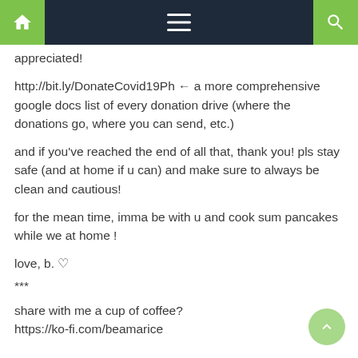Navigation bar with home, menu, and search icons
appreciated!
http://bit.ly/DonateCovid19Ph ← a more comprehensive google docs list of every donation drive (where the donations go, where you can send, etc.)
and if you've reached the end of all that, thank you! pls stay safe (and at home if u can) and make sure to always be clean and cautious!
for the mean time, imma be with u and cook sum pancakes while we at home !
love, b. ♡
***
share with me a cup of coffee?
https://ko-fi.com/beamarice